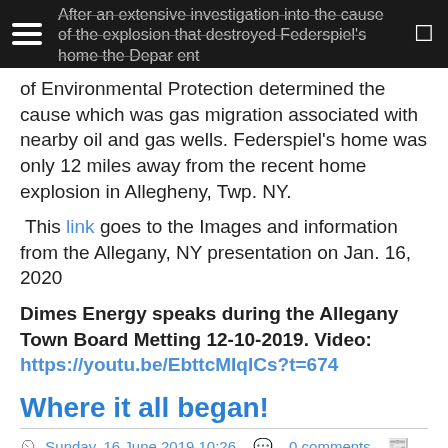After an extensive investigation into the cause of the explosion that destroyed Federspiel's home the Department of Environmental Protection determined the cause which was gas migration associated with nearby oil and gas wells. Federspiel's home was only 12 miles away from the recent home explosion in Allegheny, Twp. NY.
This link goes to the Images and information from the Allegany, NY presentation on Jan. 16, 2020
Dimes Energy speaks during the Allegany Town Board Metting 12-10-2019. Video: https://youtu.be/EbttcMIqICs?t=674
Where it all began!
Sunday, 16 June 2019 10:26   0 comments   Filming Releasing Methane!
Drilled in 1859 releasing  methane in 2019!
[Figure (photo): Photo strip showing rocks or gravel with a black overlay badge reading 'T O P']